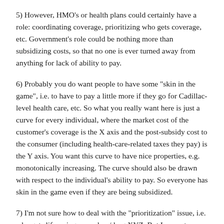5) However, HMO's or health plans could certainly have a role: coordinating coverage, prioritizing who gets coverage, etc. Government's role could be nothing more than subsidizing costs, so that no one is ever turned away from anything for lack of ability to pay.
6) Probably you do want people to have some "skin in the game", i.e. to have to pay a little more if they go for Cadillac-level health care, etc. So what you really want here is just a curve for every individual, where the market cost of the customer's coverage is the X axis and the post-subsidy cost to the consumer (including health-care-related taxes they pay) is the Y axis. You want this curve to have nice properties, e.g. monotonically increasing. The curve should also be drawn with respect to the individual's ability to pay. So everyone has skin in the game even if they are being subsidized.
7) I'm not sure how to deal with the "prioritization" issue, i.e. who gets lifesaving procedure/drug XYZ. But I am not sure that it should be left to who is willing to pay the most. It seems a little